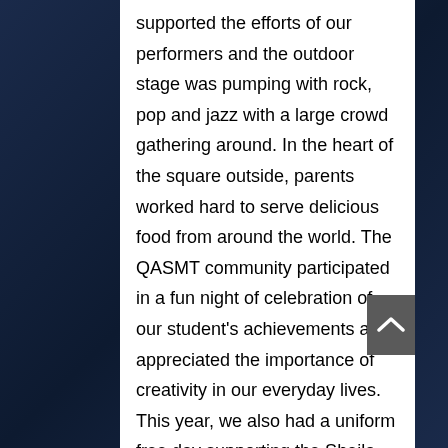supported the efforts of our performers and the outdoor stage was pumping with rock, pop and jazz with a large crowd gathering around. In the heart of the square outside, parents worked hard to serve delicious food from around the world. The QASMT community participated in a fun night of celebration of our student's achievements and appreciated the importance of creativity in our everyday lives. This year, we also had a uniform free day supporting the Sheila Foundation, a charity supporting gender equality in visual arts in Australia. Thank you to the P&C, teachers and students